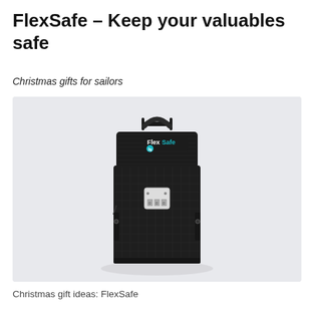FlexSafe – Keep your valuables safe
Christmas gifts for sailors
[Figure (photo): A black FlexSafe portable security bag/pouch with a combination lock on the front, a handle on top, and the FlexSafe logo in teal/white on the flap. The bag is photographed against a light gray/white background.]
Christmas gift ideas: FlexSafe